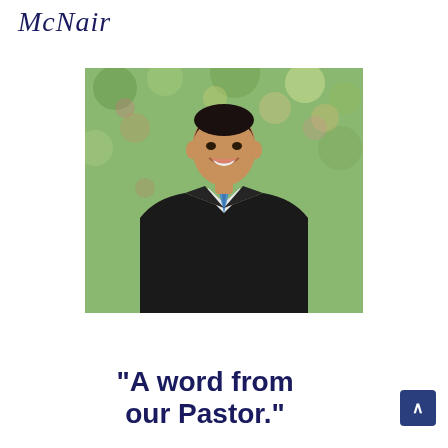McNair
[Figure (photo): Professional headshot of a man in a dark suit with a light blue tie, smiling, with a blurred green outdoor background]
“A word from our Pastor.”